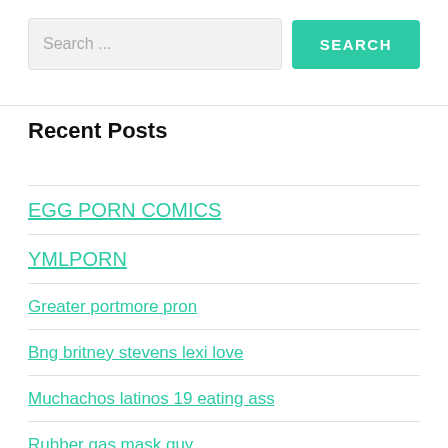[Figure (screenshot): Search input field with placeholder text 'Search ...' and a teal 'SEARCH' button]
Recent Posts
EGG PORN COMICS
YMLPORN
Greater portmore pron
Bng britney stevens lexi love
Muchachos latinos 19 eating ass
Rubber gas mask guy